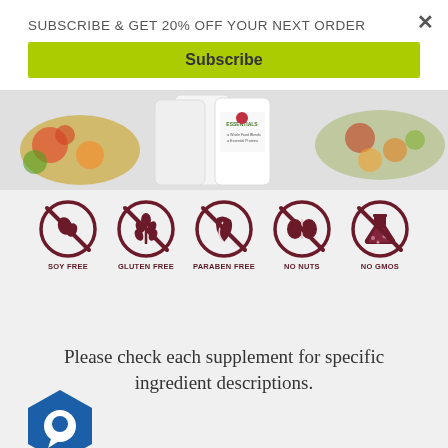SUBSCRIBE & GET 20% OFF YOUR NEXT ORDER
Subscribe
[Figure (photo): Product supplement containers with fruits and vegetables in background]
[Figure (infographic): Five certification icons: SOY FREE, GLUTEN FREE, PARABEN FREE, NO NUTS, NO GMOS — dark red circular prohibition-style icons]
Please check each supplement for specific ingredient descriptions.
[Figure (illustration): Blue hexagonal chat widget icon in bottom-left corner]